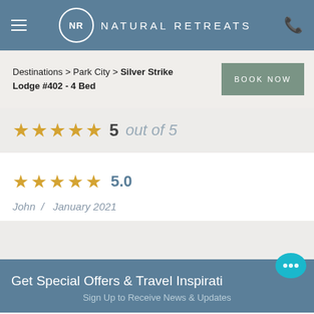NR NATURAL RETREATS
Destinations > Park City > Silver Strike Lodge #402 - 4 Bed
BOOK NOW
★★★★★ 5 out of 5
★★★★★ 5.0
John / January 2021
Get Special Offers & Travel Inspiration
Sign Up to Receive News & Updates